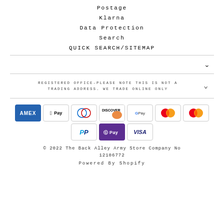Postage
Klarna
Data protection
Search
QUICK SEARCH/sitemap
REGISTERED OFFICE-PLEASE NOTE THIS IS NOT A TRADING ADDRESS. WE TRADE ONLINE ONLY
[Figure (logo): Payment method icons: American Express, Apple Pay, Diners, Discover, Google Pay, Mastercard (x2), PayPal, Shop Pay, Visa]
© 2022 The Back Alley Army Store Company no 12106772
Powered by Shopify